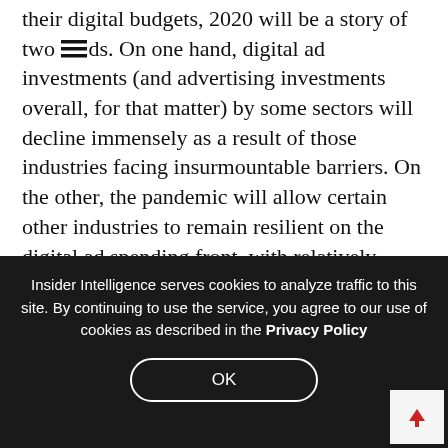their digital budgets, 2020 will be a story of two ≡ds. On one hand, digital ad investments (and advertising investments overall, for that matter) by some sectors will decline immensely as a result of those industries facing insurmountable barriers. On the other, the pandemic will allow certain other industries to remain resilient on the digital ad spending front, with relatively strong growth forecasts for the year.
It comes as no surprise that the automotive and travel industries will experience huge spending declines in
Insider Intelligence serves cookies to analyze traffic to this site. By continuing to use the service, you agree to our use of cookies as described in the Privacy Policy